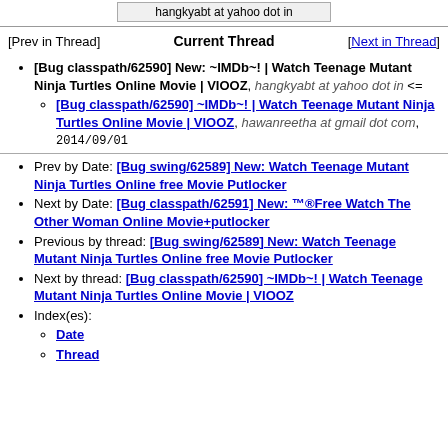hangkyabt at yahoo dot in
[Prev in Thread]   Current Thread   [Next in Thread]
[Bug classpath/62590] New: ~IMDb~! | Watch Teenage Mutant Ninja Turtles Online Movie | VIOOZ, hangkyabt at yahoo dot in <=
[Bug classpath/62590] ~IMDb~! | Watch Teenage Mutant Ninja Turtles Online Movie | VIOOZ, hawanreetha at gmail dot com, 2014/09/01
Prev by Date: [Bug swing/62589] New: Watch Teenage Mutant Ninja Turtles Online free Movie Putlocker
Next by Date: [Bug classpath/62591] New: ™®Free Watch The Other Woman Online Movie+putlocker
Previous by thread: [Bug swing/62589] New: Watch Teenage Mutant Ninja Turtles Online free Movie Putlocker
Next by thread: [Bug classpath/62590] ~IMDb~! | Watch Teenage Mutant Ninja Turtles Online Movie | VIOOZ
Index(es):
Date
Thread